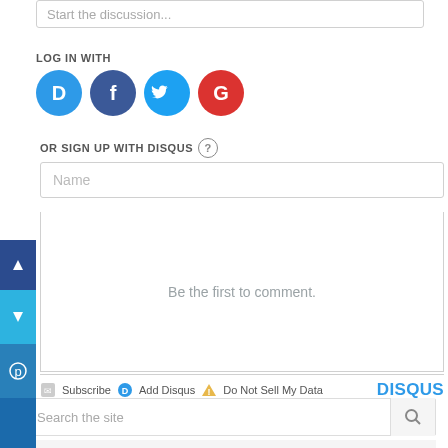Start the discussion...
LOG IN WITH
[Figure (logo): Social login icons: Disqus (blue circle D), Facebook (dark blue circle f), Twitter (light blue circle bird), Google (red circle G)]
OR SIGN UP WITH DISQUS
Name
Be the first to comment.
Subscribe  Add Disqus  Do Not Sell My Data
DISQUS
Search the site